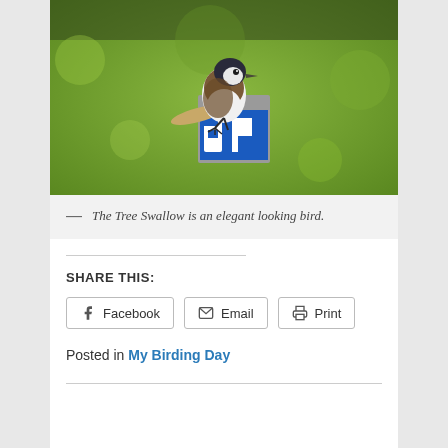[Figure (photo): A Tree Swallow bird perched on top of a blue and grey post/sign, photographed against a green blurred background. The bird has white underparts and brownish/dark upper parts with a long tail.]
— The Tree Swallow is an elegant looking bird.
SHARE THIS:
Posted in My Birding Day